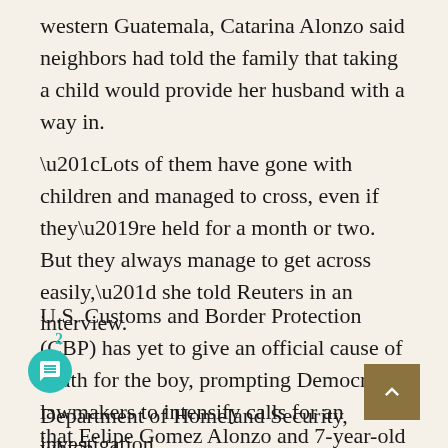western Guatemala, Catarina Alonzo said neighbors had told the family that taking a child would provide her husband with a way in.
“Lots of them have gone with children and managed to cross, even if they’re held for a month or two. But they always manage to get across easily,” she told Reuters in an interview.
U.S. Customs and Border Protection (CBP) has yet to give an official cause of death for the boy, prompting Democratic lawmakers to intensify calls for an investigation.
Department of Homeland Security, which… that Felipe Gomez Alonzo and 7-year-old Jakelin